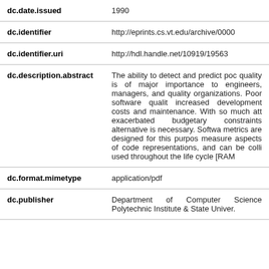| Field | Value |
| --- | --- |
| dc.date.issued | 1990 |
| dc.identifier | http://eprints.cs.vt.edu/archive/0000 |
| dc.identifier.uri | http://hdl.handle.net/10919/19563 |
| dc.description.abstract | The ability to detect and predict poor quality is of major importance to engineers, managers, and quality organizations. Poor software quality increased development costs and maintenance. With so much att exacerbated budgetary constraints alternative is necessary. Softwa metrics are designed for this purpos measure aspects of code representations, and can be colli used throughout the life cycle [RAM |
| dc.format.mimetype | application/pdf |
| dc.publisher | Department of Computer Science Polytechnic Institute & State Univer. |